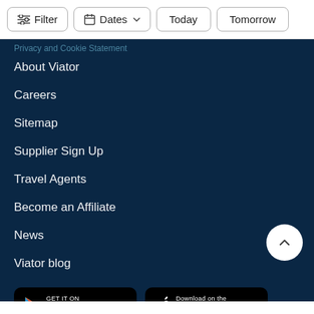Filter | Dates | Today | Tomorrow
Privacy and Cookie Statement
About Viator
Careers
Sitemap
Supplier Sign Up
Travel Agents
Become an Affiliate
News
Viator blog
[Figure (screenshot): GET IT ON Google Play badge]
[Figure (screenshot): Download on the App Store badge]
[Figure (screenshot): Social media icons row: Facebook, Twitter, Pinterest, Instagram, YouTube, TikTok]